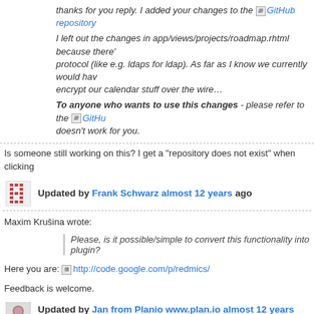thanks for you reply. I added your changes to the GitHub repository
I left out the changes in app/views/projects/roadmap.rhtml because there' protocol (like e.g. ldaps for ldap). As far as I know we currently would hav encrypt our calendar stuff over the wire…
To anyone who wants to use this changes - please refer to the GitH doesn't work for you.
Is someone still working on this? I get a "repository does not exist" when clicking
Updated by Frank Schwarz almost 12 years ago
Maxim Krušina wrote:
Please, is it possible/simple to convert this functionality into plugin?
Here you are: http://code.google.com/p/redmics/
Feedback is welcome.
Updated by Jan from Planio www.plan.io almost 12 years ago
I created a modified version which moves the links from the sidebar to "Also av calendar. For me, This feels more "natural", as the Atom, CSV, PDF links are ther new hook however, which I've requested in #6586. Feedback welcome.
Updated by Halle Winkler almost 12 years ago
Just wanted to give feedback that Frank Schwarz' plugin works very well for me,